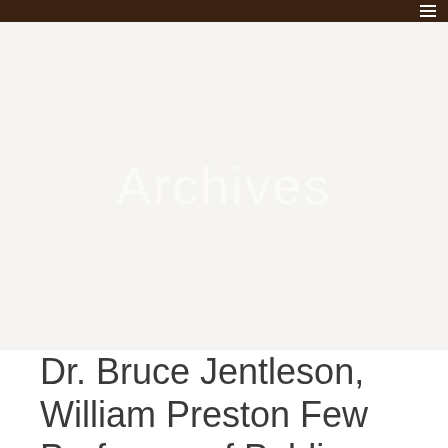Archives
Dr. Bruce Jentleson, William Preston Few Professor of Publi